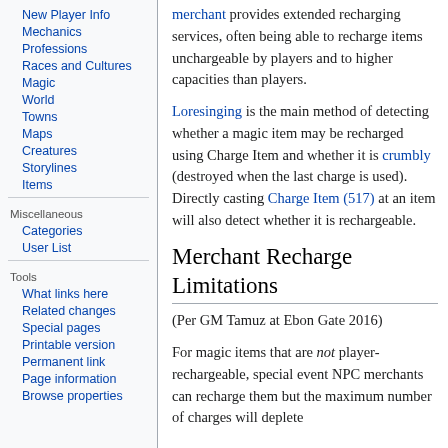New Player Info
Mechanics
Professions
Races and Cultures
Magic
World
Towns
Maps
Creatures
Storylines
Items
Miscellaneous
Categories
User List
Tools
What links here
Related changes
Special pages
Printable version
Permanent link
Page information
Browse properties
merchant provides extended recharging services, often being able to recharge items unchargeable by players and to higher capacities than players.
Loresinging is the main method of detecting whether a magic item may be recharged using Charge Item and whether it is crumbly (destroyed when the last charge is used). Directly casting Charge Item (517) at an item will also detect whether it is rechargeable.
Merchant Recharge Limitations
(Per GM Tamuz at Ebon Gate 2016)
For magic items that are not player-rechargeable, special event NPC merchants can recharge them but the maximum number of charges will deplete by 7 each time. A item that is recharged...